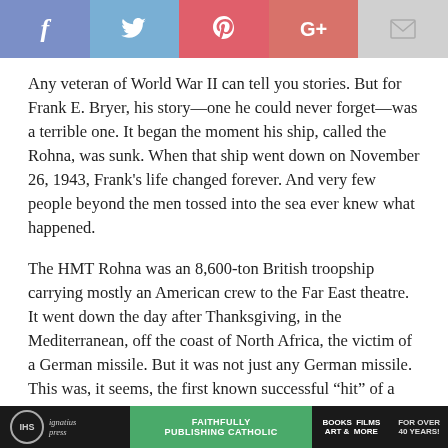[Figure (other): Social media sharing buttons: Facebook (blue), Twitter (light blue), Pinterest (red), Google+ (red-orange), Email (light gray)]
Any veteran of World War II can tell you stories. But for Frank E. Bryer, his story—one he could never forget—was a terrible one. It began the moment his ship, called the Rohna, was sunk. When that ship went down on November 26, 1943, Frank's life changed forever. And very few people beyond the men tossed into the sea ever knew what happened.
The HMT Rohna was an 8,600-ton British troopship carrying mostly an American crew to the Far East theatre. It went down the day after Thanksgiving, in the Mediterranean, off the coast of North Africa, the victim of a German missile. But it was not just any German missile. This was, it seems, the first known successful “hit” of a vessel by a German rocket-boosted, radio/remote-controlled “glider” bomb—i.e., one of the first true missiles used in combat. It was, in effect, a guided missile, and the Nazis had achieved it first.
[Figure (other): Footer banner: Ignatius Press logo on dark background, green section reading FAITHFULLY PUBLISHING CATHOLIC, dark section with BOOKS FILMS ART & MORE, dark section FOR OVER 40 YEARS!]